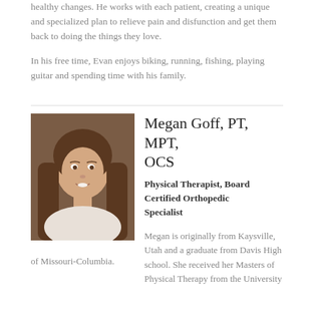healthy changes. He works with each patient, creating a unique and specialized plan to relieve pain and disfunction and get them back to doing the things they love.
In his free time, Evan enjoys biking, running, fishing, playing guitar and spending time with his family.
[Figure (photo): Professional headshot of Megan Goff, a woman with long brown hair, smiling, wearing a white top, in front of a brown background.]
Megan Goff, PT, MPT, OCS
Physical Therapist, Board Certified Orthopedic Specialist
Megan is originally from Kaysville, Utah and a graduate from Davis High school. She received her Masters of Physical Therapy from the University of Missouri-Columbia.